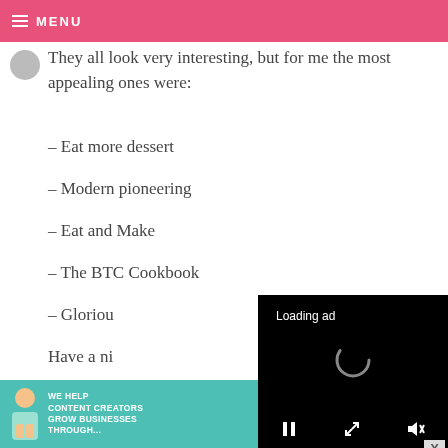MENU
They all look very interesting, but for me the most appealing ones were:
– Eat more dessert
– Modern pioneering
– Eat and Make
– The BTC Cookbook
– Gloriou[s...]
Have a ni[ce...]
[Figure (screenshot): Black video player overlay showing 'Loading ad' text and a spinner icon, with pause, fullscreen, and mute controls at the bottom.]
JOEYFROMSC — MAY 27, 2014 @ 4:38 AM
[Figure (screenshot): Green ad banner reading 'WE HELP CONTENT CREATORS GROW BUSINESSES THROUGH...' with SHE Partner Network logo and 'LEARN MORE' button.]